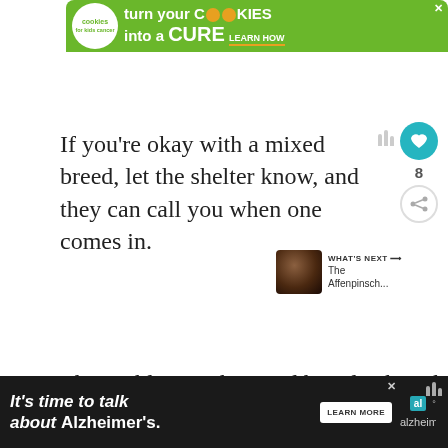[Figure (infographic): Green advertisement banner: cookies for kids cancer - turn your COOKIES into a CURE LEARN HOW]
If you're okay with a mixed breed, let the shelter know, and they can call you when one comes in.
[Figure (infographic): What's Next arrow with dog thumbnail: The Affenpinsch...]
The problem with mixed breeds, though, is
[Figure (infographic): Bottom black advertisement banner: It's time to talk about Alzheimer's. LEARN MORE - Alzheimer's association]